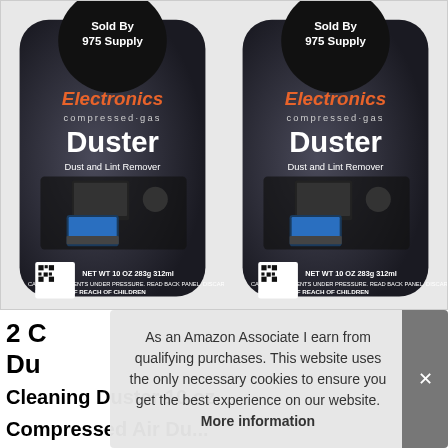[Figure (photo): Two black cans of 'Electronics compressed-gas Duster Dust and Lint Remover' by 975 Supply. Each can labeled: Sold By 975 Supply, NET WT 10 OZ 283g 312ml, CONTENTS UNDER PRESSURE. READ BACK PANEL. KEEP OUT OF REACH OF CHILDREN.]
As an Amazon Associate I earn from qualifying purchases. This website uses the only necessary cookies to ensure you get the best experience on our website. More information
2 C... Du... Cleaning Duster 10 oz Compressed Air Dust...